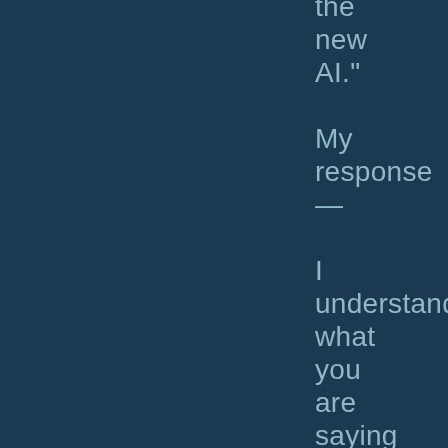the new AI."

My response —

I understand what you are saying but we are far beyond that